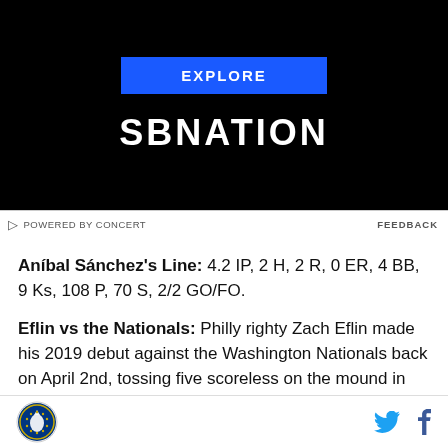[Figure (other): SBNation advertisement banner with blue EXPLORE button and white SBNATION logo on black background]
POWERED BY CONCERT   FEEDBACK
Aníbal Sánchez's Line: 4.2 IP, 2 H, 2 R, 0 ER, 4 BB, 9 Ks, 108 P, 70 S, 2/2 GO/FO.
Eflin vs the Nationals: Philly righty Zach Eflin made his 2019 debut against the Washington Nationals back on April 2nd, tossing five scoreless on the mound in the nation's capital, in an 8-2 win for the visiting team.
Coming off a complete game against the Miami
SBNation logo | Twitter icon | Facebook icon